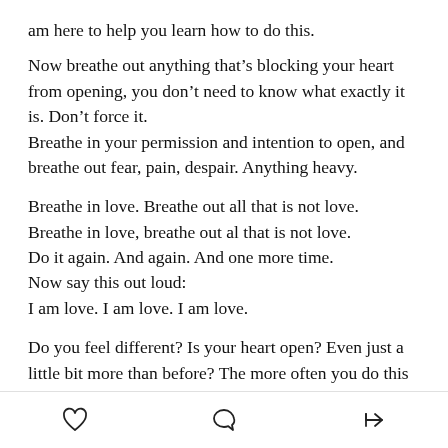am here to help you learn how to do this.
Now breathe out anything that’s blocking your heart from opening, you don’t need to know what exactly it is. Don’t force it.
Breathe in your permission and intention to open, and breathe out fear, pain, despair. Anything heavy.
Breathe in love. Breathe out all that is not love.
Breathe in love, breathe out al that is not love.
Do it again. And again. And one more time.
Now say this out loud:
I am love. I am love. I am love.
Do you feel different? Is your heart open? Even just a little bit more than before? The more often you do this
[heart icon] [comment icon] [share icon]